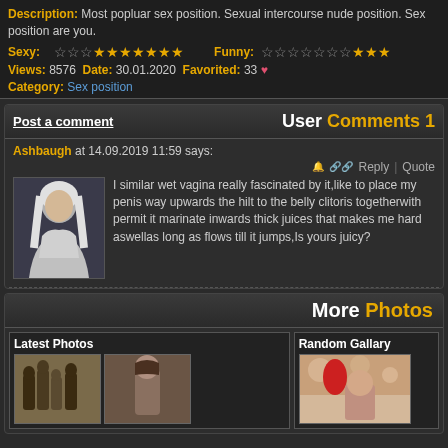Description: Most popluar sex position. Sexual intercourse nude position. Sex position are you.
Sexy: [stars] Funny: [stars]
Views: 8576 Date: 30.01.2020 Favorited: 33
Category: Sex position
User Comments 1
Post a comment
Ashbaugh at 14.09.2019 11:59 says:
I similar wet vagina really fascinated by it,like to place my penis way upwards the hilt to the belly clitoris togetherwith permit it marinate inwards thick juices that makes me hard aswellas long as flows till it jumps,Is yours juicy?
More Photos
Latest Photos
Random Gallary
[Figure (photo): Thumbnail photos in Latest Photos and Random Gallery sections]